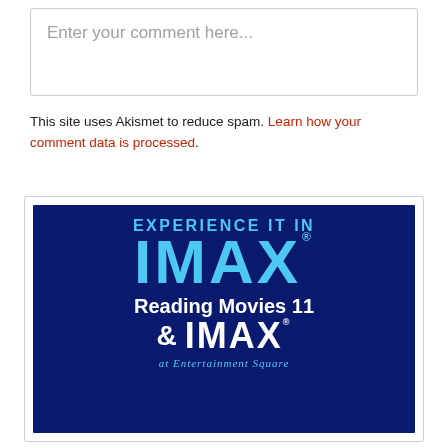Enter your comment here...
This site uses Akismet to reduce spam. Learn how your comment data is processed.
[Figure (logo): IMAX promotional advertisement showing 'EXPERIENCE IT IN IMAX' text at top in blue, 'Reading Movies 11 & IMAX at Entertainment Square' below in white and cyan text on dark navy blue background.]